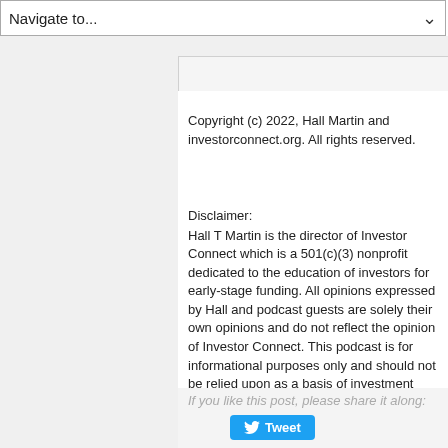Navigate to...
Copyright (c) 2022, Hall Martin and investorconnect.org. All rights reserved.
Disclaimer:
Hall T Martin is the director of Investor Connect which is a 501(c)(3) nonprofit dedicated to the education of investors for early-stage funding. All opinions expressed by Hall and podcast guests are solely their own opinions and do not reflect the opinion of Investor Connect. This podcast is for informational purposes only and should not be relied upon as a basis of investment decisions.
If you like this post, please share it along: